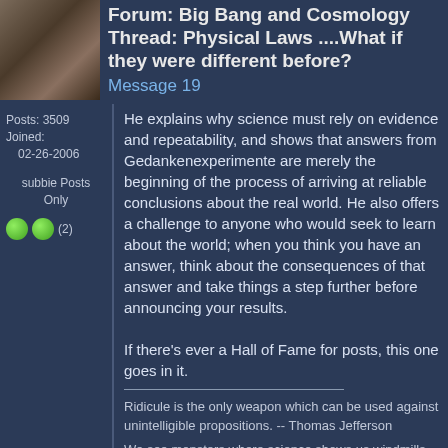Forum: Big Bang and Cosmology
Thread: Physical Laws ....What if they were different before?
Message 19
Posts: 3509
Joined:
    02-26-2006

subbie Posts
Only
He explains why science must rely on evidence and repeatability, and shows that answers from Gedankenexperimente are merely the beginning of the process of arriving at reliable conclusions about the real world. He also offers a challenge to anyone who would seek to learn about the world; when you think you have an answer, think about the consequences of that answer and take things a step further before announcing your results.

If there's ever a Hall of Fame for posts, this one goes in it.
Ridicule is the only weapon which can be used against unintelligible propositions. -- Thomas Jefferson
We see monsters where science shows us windmills.